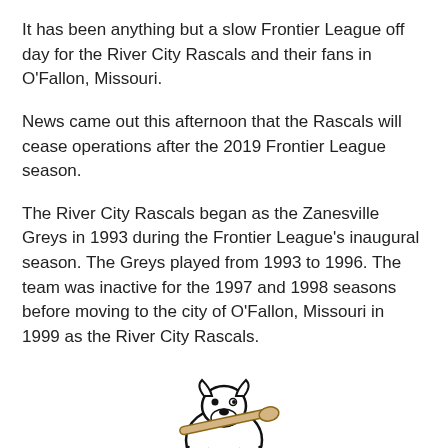It has been anything but a slow Frontier League off day for the River City Rascals and their fans in O'Fallon, Missouri.
News came out this afternoon that the Rascals will cease operations after the 2019 Frontier League season.
The River City Rascals began as the Zanesville Greys in 1993 during the Frontier League's inaugural season. The Greys played from 1993 to 1996. The team was inactive for the 1997 and 1998 seasons before moving to the city of O'Fallon, Missouri in 1999 as the River City Rascals.
[Figure (logo): River City Rascals baseball team logo featuring a white bull terrier dog holding a baseball bat, with large stylized 'RC' letters in dark red/maroon with black outline below.]